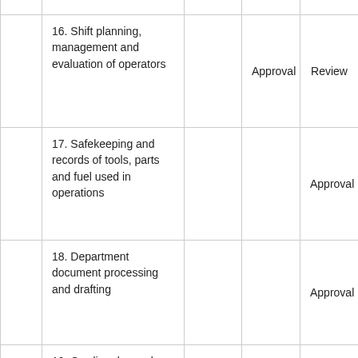|  |  |  | Approval | Review |
| --- | --- | --- | --- | --- |
|  | 16. Shift planning, management and evaluation of operators |  | Approval | Review |
|  | 17. Safekeeping and records of tools, parts and fuel used in operations |  |  | Approval |
|  | 18. Department document processing and drafting |  |  | Approval |
|  | 19. Grading dressed |  | Approval | Review |